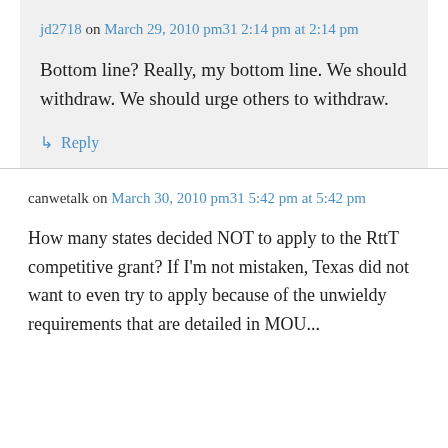jd2718 on March 29, 2010 pm31 2:14 pm at 2:14 pm
Bottom line? Really, my bottom line. We should withdraw. We should urge others to withdraw.
↳ Reply
canwetalk on March 30, 2010 pm31 5:42 pm at 5:42 pm
How many states decided NOT to apply to the RttT competitive grant? If I'm not mistaken, Texas did not want to even try to apply because of the unwieldy requirements that are detailed in MOU...